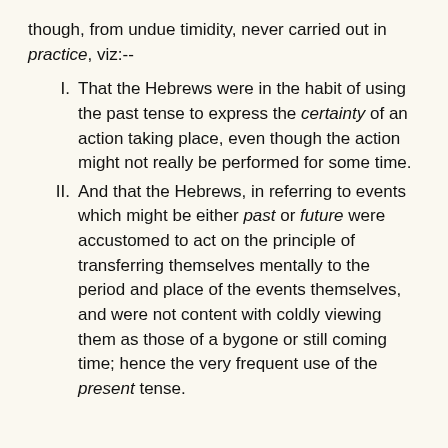though, from undue timidity, never carried out in practice, viz:--
That the Hebrews were in the habit of using the past tense to express the certainty of an action taking place, even though the action might not really be performed for some time.
And that the Hebrews, in referring to events which might be either past or future were accustomed to act on the principle of transferring themselves mentally to the period and place of the events themselves, and were not content with coldly viewing them as those of a bygone or still coming time; hence the very frequent use of the present tense.